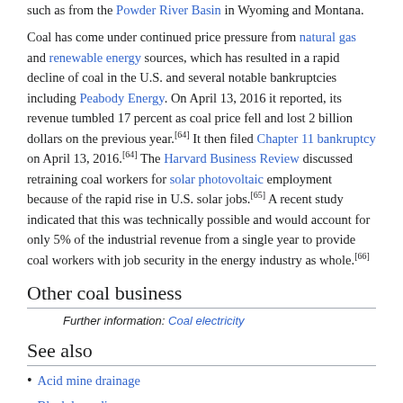such as from the Powder River Basin in Wyoming and Montana.
Coal has come under continued price pressure from natural gas and renewable energy sources, which has resulted in a rapid decline of coal in the U.S. and several notable bankruptcies including Peabody Energy. On April 13, 2016 it reported, its revenue tumbled 17 percent as coal price fell and lost 2 billion dollars on the previous year.[64] It then filed Chapter 11 bankruptcy on April 13, 2016.[64] The Harvard Business Review discussed retraining coal workers for solar photovoltaic employment because of the rapid rise in U.S. solar jobs.[65] A recent study indicated that this was technically possible and would account for only 5% of the industrial revenue from a single year to provide coal workers with job security in the energy industry as whole.[66]
Other coal business
Further information: Coal electricity
See also
Acid mine drainage
Black lung disease